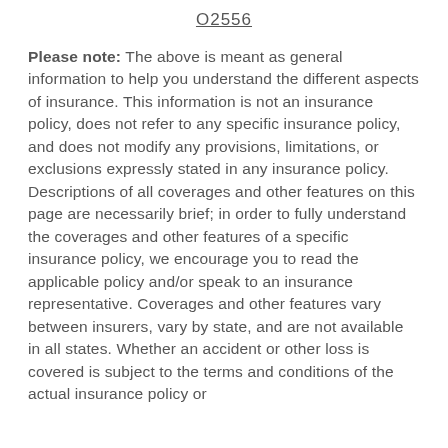02556
Please note: The above is meant as general information to help you understand the different aspects of insurance. This information is not an insurance policy, does not refer to any specific insurance policy, and does not modify any provisions, limitations, or exclusions expressly stated in any insurance policy. Descriptions of all coverages and other features on this page are necessarily brief; in order to fully understand the coverages and other features of a specific insurance policy, we encourage you to read the applicable policy and/or speak to an insurance representative. Coverages and other features vary between insurers, vary by state, and are not available in all states. Whether an accident or other loss is covered is subject to the terms and conditions of the actual insurance policy or